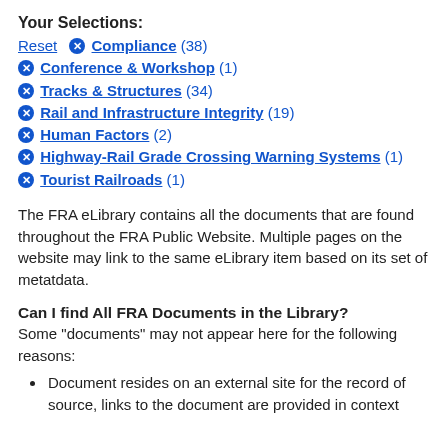Your Selections:
Reset  ✕ Compliance (38)
✕ Conference & Workshop (1)
✕ Tracks & Structures (34)
✕ Rail and Infrastructure Integrity (19)
✕ Human Factors (2)
✕ Highway-Rail Grade Crossing Warning Systems (1)
✕ Tourist Railroads (1)
The FRA eLibrary contains all the documents that are found throughout the FRA Public Website. Multiple pages on the website may link to the same eLibrary item based on its set of metatdata.
Can I find All FRA Documents in the Library?
Some "documents" may not appear here for the following reasons:
Document resides on an external site for the record of source, links to the document are provided in context